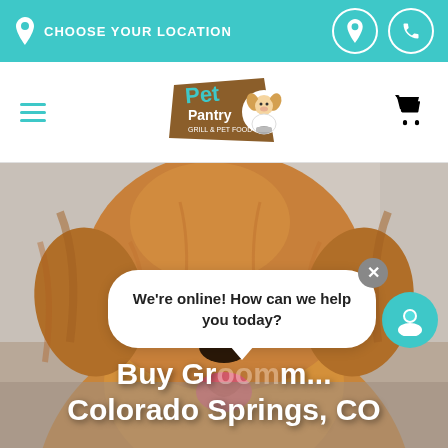CHOOSE YOUR LOCATION
[Figure (logo): Pet Pantry logo with dog mascot]
[Figure (photo): Close-up photo of a golden retriever dog]
Buy Gr... Colorado Springs, CO
We're online! How can we help you today?